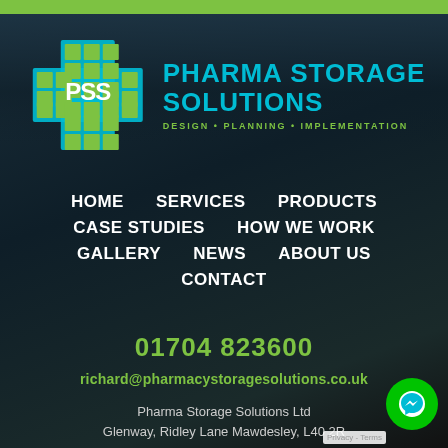[Figure (logo): Pharma Storage Solutions logo: green grid cross with PSS text and cyan company name]
PHARMA STORAGE SOLUTIONS
DESIGN • PLANNING • IMPLEMENTATION
HOME
SERVICES
PRODUCTS
CASE STUDIES
HOW WE WORK
GALLERY
NEWS
ABOUT US
CONTACT
01704 823600
richard@pharmacystoragesolutions.co.uk
Pharma Storage Solutions Ltd
Glenway, Ridley Lane Mawdesley, L40 2R...